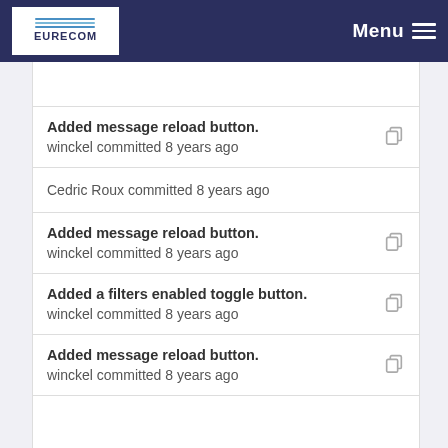EURECOM | Menu
Added message reload button.
winckel committed 8 years ago
Cedric Roux committed 8 years ago
Added message reload button.
winckel committed 8 years ago
Added a filters enabled toggle button.
winckel committed 8 years ago
Added message reload button.
winckel committed 8 years ago